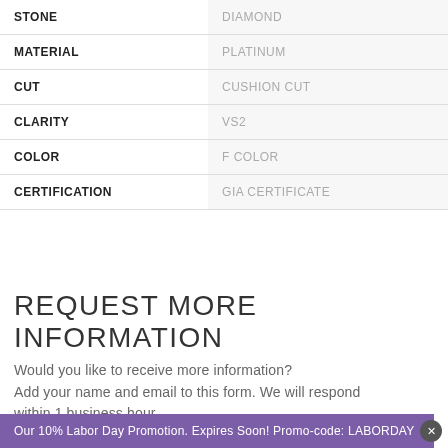| Property | Value |
| --- | --- |
| STONE | DIAMOND |
| MATERIAL | PLATINUM |
| CUT | CUSHION CUT |
| CLARITY | VS2 |
| COLOR | F COLOR |
| CERTIFICATION | GIA CERTIFICATE |
REQUEST MORE INFORMATION
Would you like to receive more information? Add your name and email to this form. We will respond within 1 business hour.
First Name *
Our 10% Labor Day Promotion. Expires Soon! Promo-code: LABORDAY